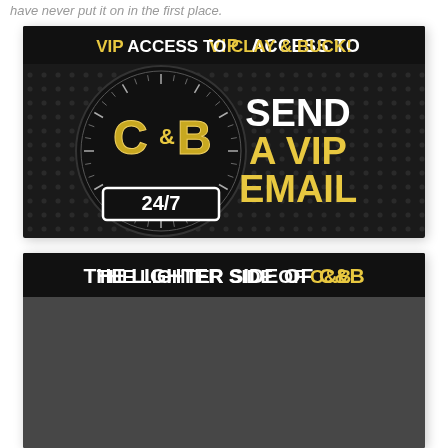have never put it on in the first place.
[Figure (illustration): Dark themed advertisement banner with clock graphic showing 'C&B' logo. Text reads: VIP ACCESS TO CLAY & BUCK! on top. Left side shows a circular clock/dial with 'C&B' in gold letters and '24/7' at bottom. Right side reads 'SEND A VIP EMAIL' in large white and gold text on dark background.]
[Figure (illustration): Dark themed banner with text 'THE LIGHTER SIDE OF C&B' in white and gold letters on black background.]